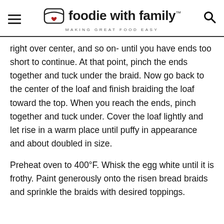foodie with family™ — MAKING GREAT FOOD EASY
right over center, and so on- until you have ends too short to continue. At that point, pinch the ends together and tuck under the braid. Now go back to the center of the loaf and finish braiding the loaf toward the top. When you reach the ends, pinch together and tuck under. Cover the loaf lightly and let rise in a warm place until puffy in appearance and about doubled in size.
Preheat oven to 400°F. Whisk the egg white until it is frothy. Paint generously onto the risen bread braids and sprinkle the braids with desired toppings.